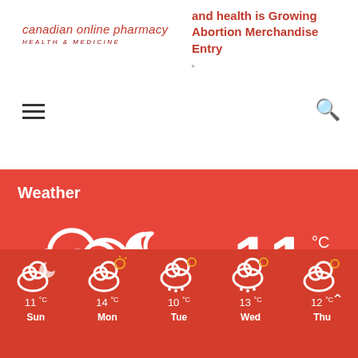canadian online pharmacy — HEALTH & MEDICINE
and health is Growing Abortion Merchandise Entry
Weather
[Figure (infographic): Weather widget showing Melbourne, Scattered Clouds, 11°C, with cloud+moon icon, details: 12°-9°, 63%, 8.75 km/h, and 5-day forecast: Sun 11°C, Mon 14°C, Tue 10°C, Wed 13°C, Thu 12°C]